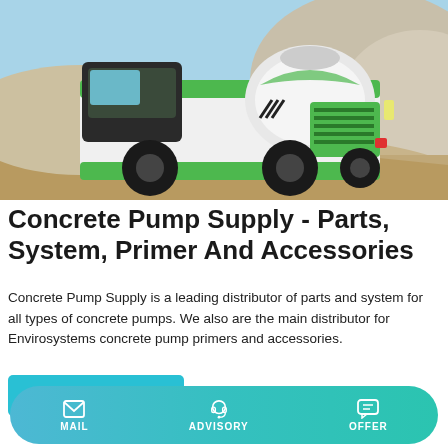[Figure (photo): A green and white self-loading concrete mixer truck on a sandy/rocky construction site with aggregate piles in the background and blue sky.]
Concrete Pump Supply - Parts, System, Primer And Accessories
Concrete Pump Supply is a leading distributor of parts and system for all types of concrete pumps. We also are the main distributor for Envirosystems concrete pump primers and accessories.
Learn More
MAIL   ADVISORY   OFFER